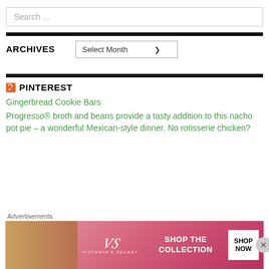Search ...
ARCHIVES
Select Month
PINTEREST
Gingerbread Cookie Bars
Progresso® broth and beans provide a tasty addition to this nacho pot pie – a wonderful Mexican-style dinner. No rotisserie chicken?
[Figure (screenshot): Victoria's Secret advertisement banner: pink gradient background, model on left, VS logo in center, 'SHOP THE COLLECTION' text, 'SHOP NOW' white button on right]
Advertisements